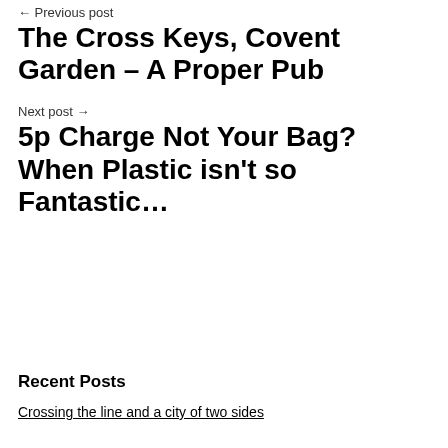← Previous post
The Cross Keys, Covent Garden – A Proper Pub
Next post →
5p Charge Not Your Bag? When Plastic isn't so Fantastic…
Recent Posts
Crossing the line and a city of two sides